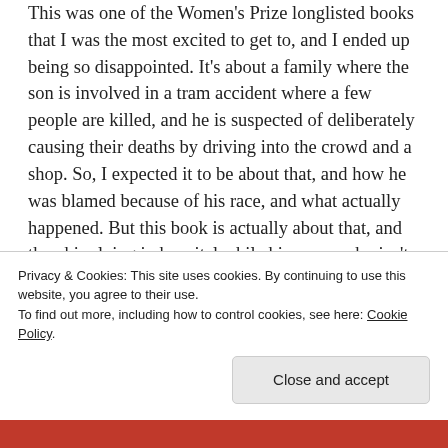This was one of the Women's Prize longlisted books that I was the most excited to get to, and I ended up being so disappointed. It's about a family where the son is involved in a tram accident where a few people are killed, and he is suspected of deliberately causing their deaths by driving into the crowd and a shop. So, I expected it to be about that, and how he was blamed because of his race, and what actually happened. But this book is actually about that, and then him lying in hospital while his mum, who isn't really his mum, tells him the story of her life, and her mum's life. But it's told from the perspective of characters that don't have any direct relevance to the story other than they're in the mum's life for a short while. It's about slavery, and then the abolishment of slavery and what that means
Privacy & Cookies: This site uses cookies. By continuing to use this website, you agree to their use.
To find out more, including how to control cookies, see here: Cookie Policy